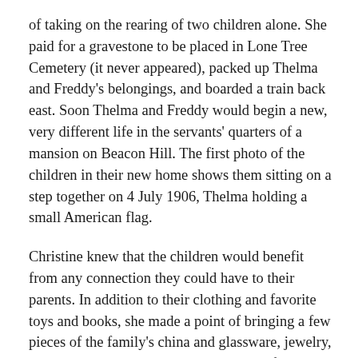of taking on the rearing of two children alone. She paid for a gravestone to be placed in Lone Tree Cemetery (it never appeared), packed up Thelma and Freddy's belongings, and boarded a train back east. Soon Thelma and Freddy would begin a new, very different life in the servants' quarters of a mansion on Beacon Hill. The first photo of the children in their new home shows them sitting on a step together on 4 July 1906, Thelma holding a small American flag.
Christine knew that the children would benefit from any connection they could have to their parents. In addition to their clothing and favorite toys and books, she made a point of bringing a few pieces of the family's china and glassware, jewelry, photos, and personal mementos with her from Telluride. Among the items were Alice's calling cards, still in their engraved case, and a book in which Alice and Kenny recorded family births and deaths. Most